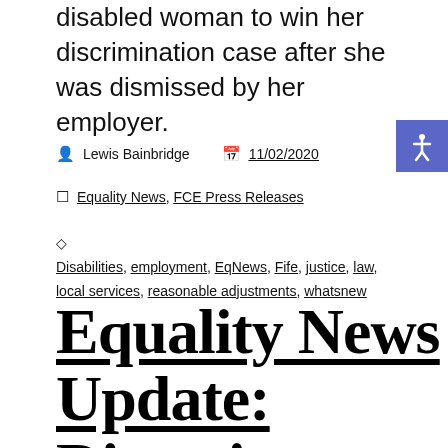disabled woman to win her discrimination case after she was dismissed by her employer.
Lewis Bainbridge   11/02/2020
Equality News, FCE Press Releases
Disabilities, employment, EqNews, Fife, justice, law, local services, reasonable adjustments, whatsnew
Equality News Update: Diversity Week Fife, Day 5!